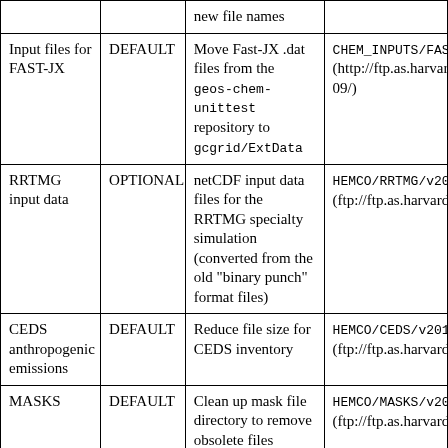|  |  | new file names |  |
| --- | --- | --- | --- |
| Input files for FAST-JX | DEFAULT | Move Fast-JX .dat files from the geos-chem-unittest repository to gcgrid/ExtData | CHEM_INPUTS/FAST (http://ftp.as.harvar 09/) |
| RRTMG input data | OPTIONAL | netCDF input data files for the RRTMG specialty simulation (converted from the old "binary punch" format files) | HEMCO/RRTMG/v201 (ftp://ftp.as.harvard |
| CEDS anthropogenic emissions | DEFAULT | Reduce file size for CEDS inventory | HEMCO/CEDS/v2018 (ftp://ftp.as.harvard |
| MASKS | DEFAULT | Clean up mask file directory to remove obsolete files | HEMCO/MASKS/v201 (ftp://ftp.as.harvard |